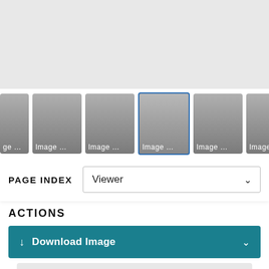[Figure (screenshot): Gray placeholder area representing a document viewer main display]
[Figure (screenshot): Horizontal thumbnail strip with image thumbnails labeled 'Image...' — center thumbnail is selected with a blue border]
PAGE INDEX
Viewer
ACTIONS
Download Image